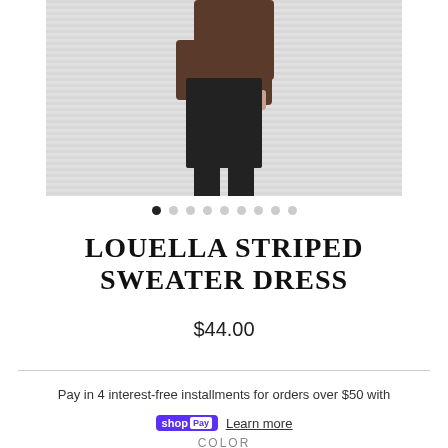[Figure (photo): Fashion product photo showing a model wearing a black striped sweater dress with over-the-knee black boots, cropped to show torso and legs against a light striped background]
• • • • • • • • • (image carousel dots, first filled)
LOUELLA STRIPED SWEATER DRESS
$44.00
Pay in 4 interest-free installments for orders over $50 with
shopPay  Learn more
COLOR